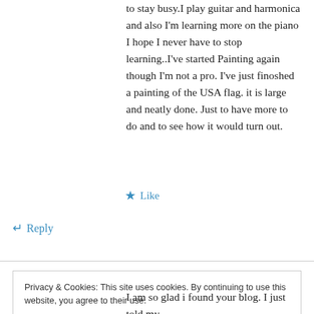to stay busy.I play guitar and harmonica and also I'm learning more on the piano I hope I never have to stop learning..I've started Painting again though I'm not a pro. I've just finoshed a painting of the USA flag. it is large and neatly done. Just to have more to do and to see how it would turn out.
★ Like
↵ Reply
Privacy & Cookies: This site uses cookies. By continuing to use this website, you agree to their use.
To find out more, including how to control cookies, see here: Cookie Policy
Close and accept
I am so glad i found your blog. I just told my